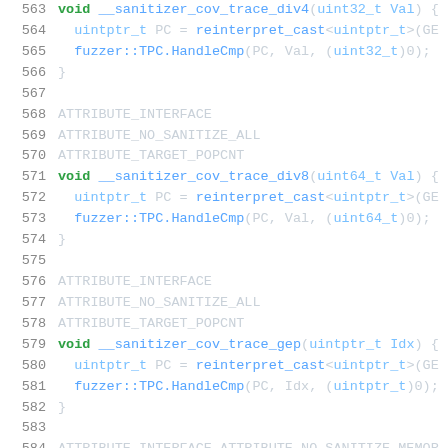[Figure (screenshot): Source code screenshot showing C++ function definitions for sanitizer coverage tracing (lines 563-584), including __sanitizer_cov_trace_div4, __sanitizer_cov_trace_div8, and __sanitizer_cov_trace_gep functions with ATTRIBUTE_INTERFACE, ATTRIBUTE_NO_SANITIZE_ALL, and ATTRIBUTE_TARGET_POPCNT macros.]